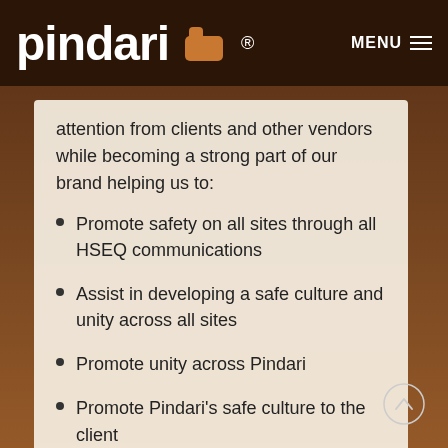pindari® MENU
attention from clients and other vendors while becoming a strong part of our brand helping us to:
Promote safety on all sites through all HSEQ communications
Assist in developing a safe culture and unity across all sites
Promote unity across Pindari
Promote Pindari's safe culture to the client